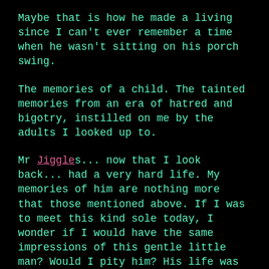Maybe that is how he made a living since I can't ever remember a time when he wasn't sitting on his porch swing.
The memories of a child. The tainted memories from an era of hatred and bigotry, instilled on me by the adults I looked up to.
Mr Jiggles... now that I look back... had a very hard life. My memories of him are nothing more that those mentioned above. If I was to meet this kind sole today, I wonder if I would have the same impressions of this gentle little man? Would I pity him? His life was simple... yet incredibly hard... but he always seemed happy.